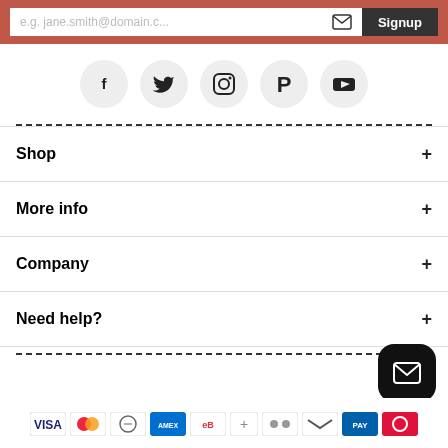[Figure (screenshot): Email signup bar with placeholder text 'e.g. jane.smith@domain.c...' and a Signup button on dark red background]
[Figure (infographic): Row of 5 social media icons: Facebook, Twitter, Instagram, Pinterest, YouTube — each in a light grey circle]
Shop
More info
Company
Need help?
[Figure (infographic): Row of payment method icons at the bottom of the page]
[Figure (illustration): Floating dark email/envelope button (FAB) in bottom right corner]